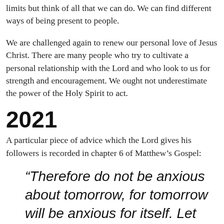limits but think of all that we can do. We can find different ways of being present to people.
We are challenged again to renew our personal love of Jesus Christ. There are many people who try to cultivate a personal relationship with the Lord and who look to us for strength and encouragement. We ought not underestimate the power of the Holy Spirit to act.
2021
A particular piece of advice which the Lord gives his followers is recorded in chapter 6 of Matthew’s Gospel:
“Therefore do not be anxious about tomorrow, for tomorrow will be anxious for itself. Let the day’s own trouble be sufficient for the day